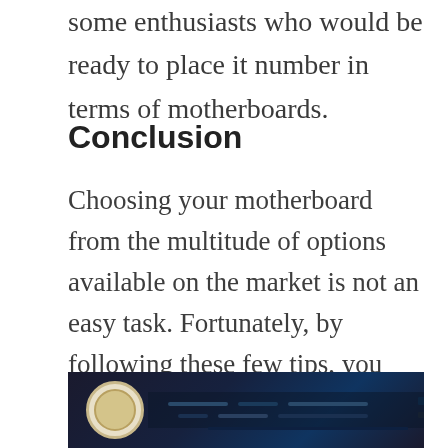some enthusiasts who would be ready to place it number in terms of motherboards.
Conclusion
Choosing your motherboard from the multitude of options available on the market is not an easy task. Fortunately, by following these few tips, you will be able to find the motherboard that meets your needs, at the normal recommended price.
[Figure (photo): Bottom portion of a photo showing a motherboard circuit board with dark background and a circular badge/logo on the left side.]